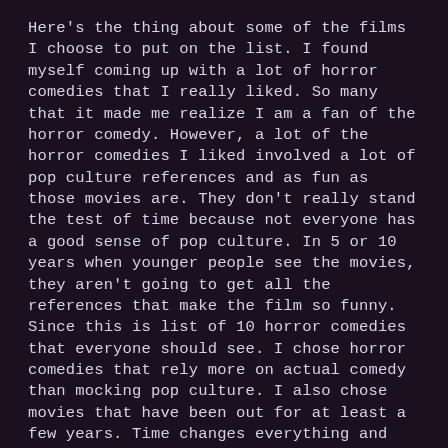Here's the thing about some of the films I choose to put on the list. I found myself coming up with a lot of horror comedies that I really liked. So many that it made me realize I am a fan of the horror comedy. However, a lot of the horror comedies I liked involved a lot of pop culture references and as fun as those movies are. They don't really stand the test of time because not everyone has a good sense of pop culture. In 5 or 10 years when younger people see the movies, they aren't going to get all the references that make the film so funny. Since this is list of 10 horror comedies that everyone should see. I chose horror comedies that rely more on actual comedy than mocking pop culture. I also chose movies that have been out for at least a few years. Time changes everything and the best test of a movie is how it stands up to it.
So here we have it. The Top 10 Horror